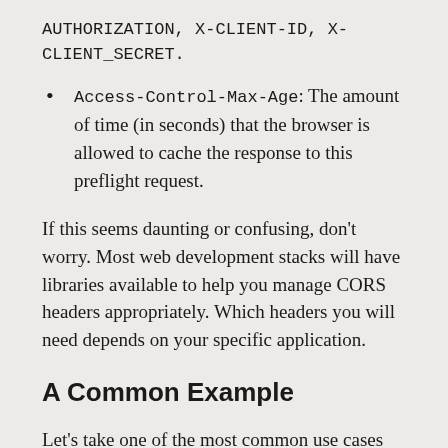AUTHORIZATION, X-CLIENT-ID, X-CLIENT_SECRET.
Access-Control-Max-Age: The amount of time (in seconds) that the browser is allowed to cache the response to this preflight request.
If this seems daunting or confusing, don't worry. Most web development stacks will have libraries available to help you manage CORS headers appropriately. Which headers you will need depends on your specific application.
A Common Example
Let's take one of the most common use cases for CORS: accessing application data from a JSON API on another server. Let's say we want to GET data